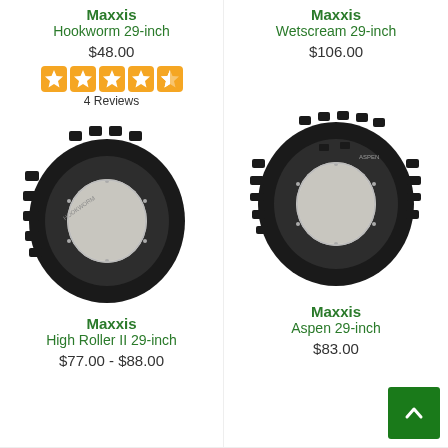Maxxis
Hookworm 29-inch
$48.00
[Figure (other): Orange star rating showing 4.5 stars]
4 Reviews
Maxxis
Wetscream 29-inch
$106.00
[Figure (photo): Maxxis Hookworm bicycle tire, black, 29-inch, angled view showing tread pattern]
[Figure (photo): Maxxis Aspen bicycle tire, black, 29-inch, angled view showing tread pattern]
Maxxis
High Roller II 29-inch
$77.00 - $88.00
Maxxis
Aspen 29-inch
$83.00